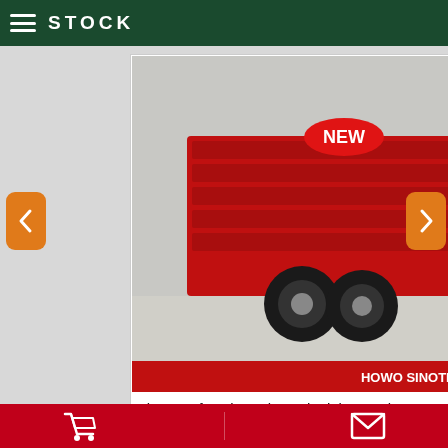STOCK
[Figure (photo): Sinotruk HOWO red dump/haul mining trucks lined up, shown from the front-left angle. Red trucks with large tires. 'NEW' badge visible in top left of image. Bottom banner with text about Sinotruk mining dump truck.]
Discount for Sinotruk Haul mining trucks
READ MORE
MANUFACTURERS: HOWO | SINOTRUK | FOTON | HAITAI POWER | CATERPILLAR | JCB | CUMMINS | PERKINS | WEICHAI | DEUTZ | VOLVO | STAMFORD | DOOASN | WEICHAI | LOVOL | XCMG | SSANTUI | tOPMAC | ZOOMLION | DONFENG | FOTMA | YTO | JINMA |